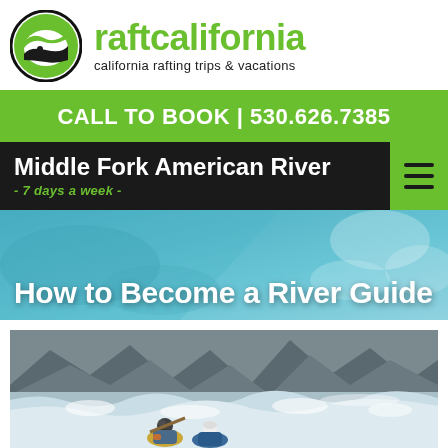[Figure (logo): Raft California circular logo with green wave and kayaker silhouette, alongside brand name 'raftcalifornia' in green and tagline 'california rafting trips & vacations']
CALL TO BOOK | 530.626.7385
Middle Fork American River - 7 days a week -
How to Become a River Guide
[Figure (photo): Whitewater rafting photo showing two people in helmets and life jackets paddling through rapids with rocky shoreline]